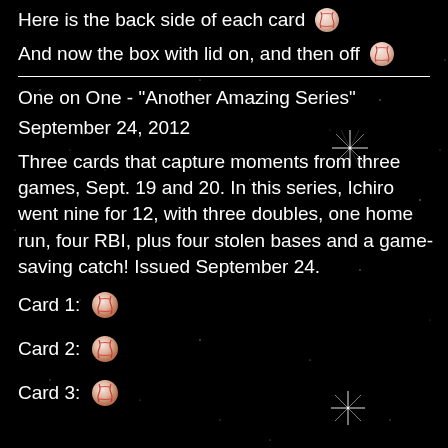Here is the back side of each card
And now the box with lid on, and then off
One on One - "Another Amazing Series"
September 24, 2012
Three cards that capture moments from three games, Sept. 19 and 20. In this series, Ichiro went nine for 12, with three doubles, one home run, four RBI, plus four stolen bases and a game-saving catch! Issued September 24.
Card 1:
Card 2:
Card 3: